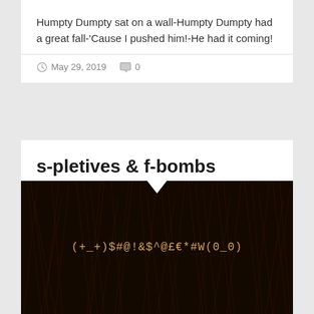Humpty Dumpty sat on a wall-Humpty Dumpty had a great fall-'Cause I pushed him!-He had it coming!
May 29, 2019   0
s-pletives & f-bombs
[Figure (photo): Dark brown fur texture background with orange/tan text reading (+_+)$#@!&$^@£€*#W(0_0) in monospace font]